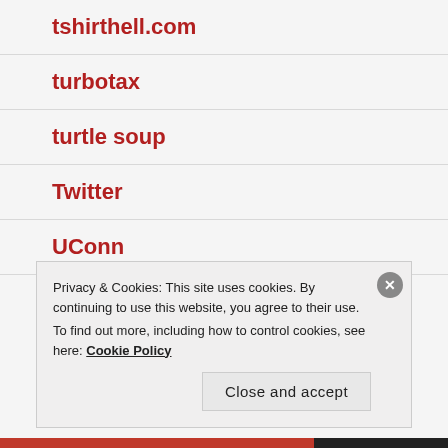tshirthell.com
turbotax
turtle soup
Twitter
UConn
UFC
Privacy & Cookies: This site uses cookies. By continuing to use this website, you agree to their use. To find out more, including how to control cookies, see here: Cookie Policy
Close and accept